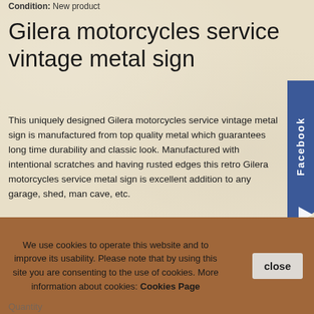Condition: New product
Gilera motorcycles service vintage metal sign
This uniquely designed Gilera motorcycles service vintage metal sign is manufactured from top quality metal which guarantees long time durability and classic look. Manufactured with intentional scratches and having rusted edges this retro Gilera motorcycles service metal sign is excellent addition to any garage, shed, man cave, etc.
Tweet  Google+  Pinterest
Send to a friend
Print
We use cookies to operate this website and to improve its usability. Please note that by using this site you are consenting to the use of cookies. More information about cookies: Cookies Page
Quantity